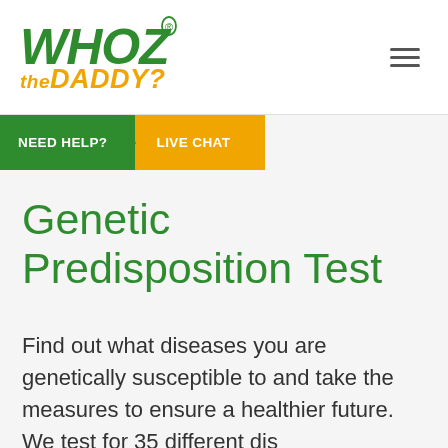[Figure (logo): WHO'Z the DADDY? logo in green and orange/yellow italic bold text with registered trademark symbol]
NEED HELP? ▶ LIVE CHAT
Genetic Predisposition Test
Find out what diseases you are genetically susceptible to and take the measures to ensure a healthier future. We test for 35 different dis...